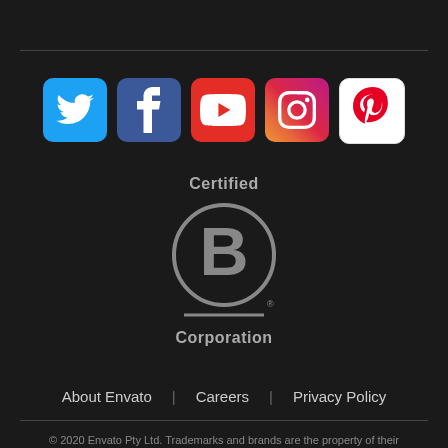[Figure (logo): Social media icons row: Twitter (blue bird), Facebook (blue f), YouTube (red play button), Instagram (gradient camera), Pinterest (white/red P)]
[Figure (logo): Certified B Corporation logo — circle with B inside, horizontal line below, text 'Certified' above and 'Corporation' below]
About Envato   Careers   Privacy Policy
© 2020 Envato Pty Ltd. Trademarks and brands are the property of their respective owners.